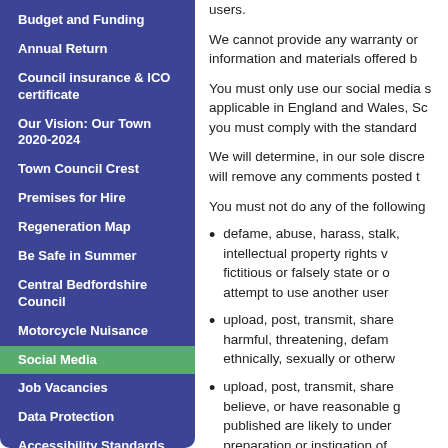Budget and Funding
Annual Return
Council insurance & ICO certificate
Our Vision: Our Town 2020-2024
Town Council Crest
Premises for Hire
Regeneration Map
Be Safe in Summer
Central Bedfordshire Council
Motorcycle Nuisance
Social Media
Job Vacancies
Data Protection
Accessibility Standards
users.
We cannot provide any warranty or information and materials offered b
You must only use our social media s applicable in England and Wales, Sc you must comply with the standard
We will determine, in our sole discre will remove any comments posted t
You must not do any of the following
defame, abuse, harass, stalk, intellectual property rights v fictitious or falsely state or o attempt to use another user
upload, post, transmit, share harmful, threatening, defam ethnically, sexually or otherw
upload, post, transmit, share believe, or have reasonable g published are likely to under preparation or instigation of
unauthorised advertising, so engage in any other form of
upload, post, share or other